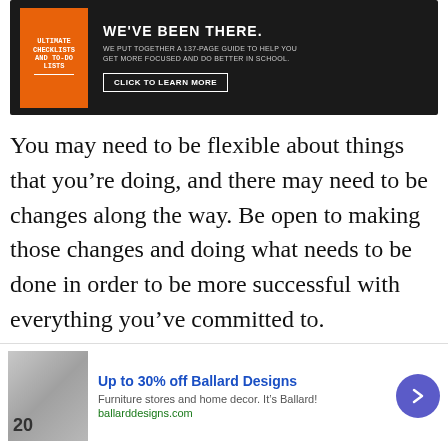[Figure (screenshot): Advertisement banner with black background showing a book cover 'Ultimate Checklists and To-Do Lists' in orange, headline 'WE'VE BEEN THERE.' with subtext 'WE PUT TOGETHER A 137-PAGE GUIDE TO HELP YOU GET MORE FOCUSED AND DO BETTER IN SCHOOL.' and a 'CLICK TO LEARN MORE' button.]
You may need to be flexible about things that you’re doing, and there may need to be changes along the way. Be open to making those changes and doing what needs to be done in order to be more successful with everything you’ve committed to.
22. Try to schedule activities together
[Figure (screenshot): Advertisement for Ballard Designs with furniture image, text 'Up to 30% off Ballard Designs', subtext 'Furniture stores and home decor. It’s Ballard!', URL 'ballarddesigns.com', and a purple arrow button to navigate.]